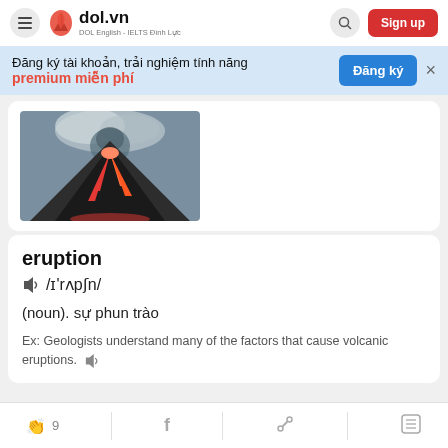dol.vn — DOL English - IELTS Đình Lực | Sign up
Đăng ký tài khoản, trải nghiệm tính năng premium miễn phí | Đăng ký
[Figure (photo): Volcano erupting with red lava and smoke against a cloudy sky]
eruption
🔊 /ɪ'rʌpʃn/
(noun). sự phun trào
Ex: Geologists understand many of the factors that cause volcanic eruptions. 🔊
👏 9  f  🔗  ≡